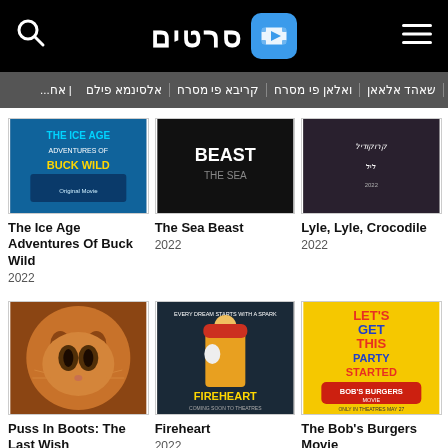סרטים — website header with search, logo, and menu
שאהד אלאאן | ואלאן פי מסרח | קריבא פי מסרח | אלסינמא פילם | אח...
[Figure (photo): The Ice Age Adventures of Buck Wild movie poster - 2022]
The Ice Age Adventures Of Buck Wild
2022
[Figure (photo): The Sea Beast movie poster - 2022]
The Sea Beast
2022
[Figure (photo): Lyle, Lyle, Crocodile movie poster - 2022]
Lyle, Lyle, Crocodile
2022
[Figure (photo): Puss In Boots: The Last Wish movie poster - 2022]
Puss In Boots: The Last Wish
2022
[Figure (photo): Fireheart movie poster - 2022]
Fireheart
2022
[Figure (photo): The Bob's Burgers Movie poster - 2022]
The Bob's Burgers Movie
2022